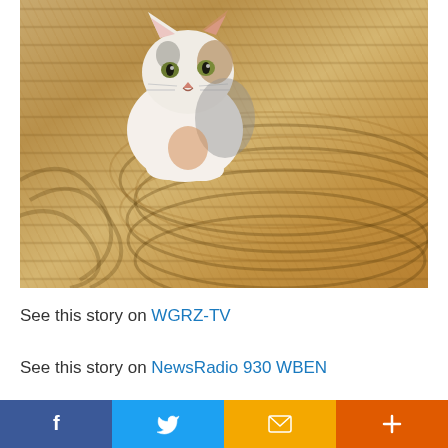[Figure (photo): A white and calico cat sitting on a large coiled rope, looking at the camera]
See this story on WGRZ-TV
See this story on NewsRadio 930 WBEN
[Figure (infographic): Social sharing bar with Facebook, Twitter, email, and plus buttons]